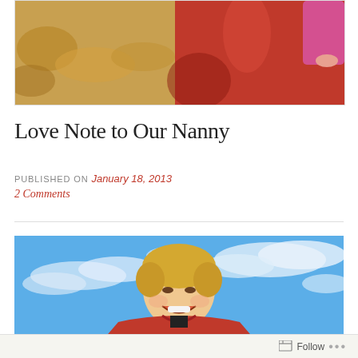[Figure (photo): Partial photo of a child in a red jacket being held, with autumn leaves in the background. Cropped at top of page.]
Love Note to Our Nanny
PUBLISHED ON January 18, 2013
2 Comments
[Figure (photo): A young blonde boy in a red jacket laughing, photographed from a low angle against a blue sky with clouds.]
Follow